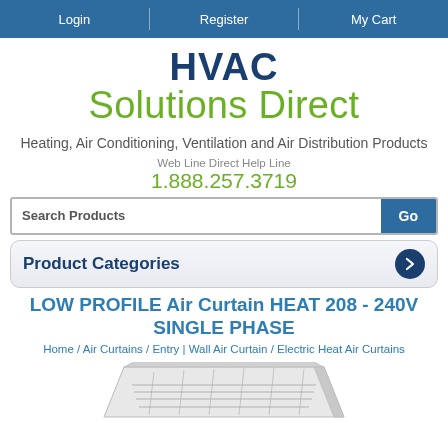Login | Register | My Cart
HVAC Solutions Direct
Heating, Air Conditioning, Ventilation and Air Distribution Products
Web Line Direct Help Line
1.888.257.3719
Product Categories
LOW PROFILE Air Curtain HEAT 208 - 240V SINGLE PHASE
Home / Air Curtains / Entry | Wall Air Curtain / Electric Heat Air Curtains
[Figure (photo): Partial view of a white low profile air curtain unit, shown from below at an angle]